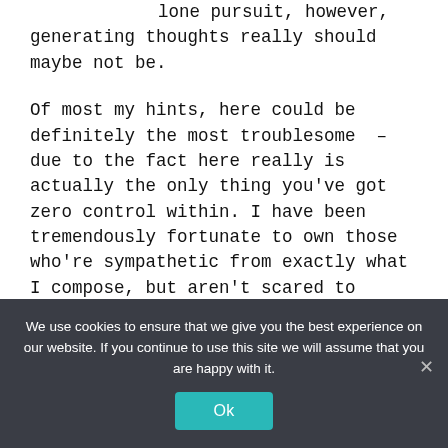lone pursuit, however, generating thoughts really should maybe not be.
Of most my hints, here could be definitely the most troublesome  – due to the fact here really is actually the only thing you've got zero control within. I have been tremendously fortunate to own those who're sympathetic from exactly what I compose, but aren't scared to state when some thing will not do the job or can possibly be made better on. In the event
We use cookies to ensure that we give you the best experience on our website. If you continue to use this site we will assume that you are happy with it.